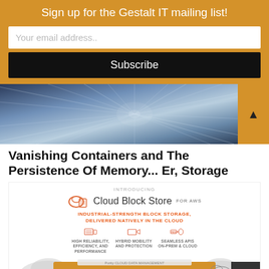Sign up for the Gestalt IT mailing list!
Your email address..
Subscribe
[Figure (photo): Abstract blue technology/data center image with motion blur lines suggesting speed or digital connectivity]
Vanishing Containers and The Persistence Of Memory... Er, Storage
[Figure (infographic): Pure Storage Cloud Block Store for AWS advertisement. Shows 'INTRODUCING' header, Cloud Block Store FOR AWS logo, tagline 'INDUSTRIAL-STRENGTH BLOCK STORAGE, DELIVERED NATIVELY IN THE CLOUD', three features: HIGH RELIABILITY, EFFICIENCY, AND PERFORMANCE; HYBRID MOBILITY AND PROTECTION; SEAMLESS APIs ON-PREM & CLOUD. Below is a diagram showing Purity cloud data management with Purity storage software.]